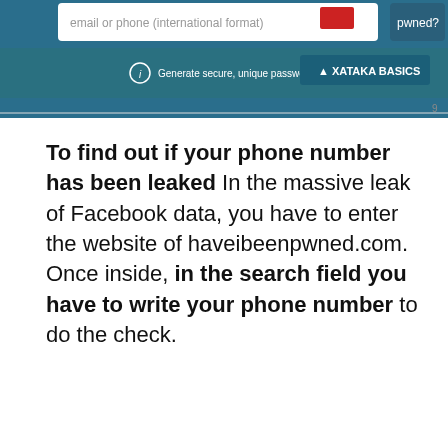[Figure (screenshot): Partial screenshot of haveibeenpwned.com website showing an input field for email or phone (international format) with a red logo and a 'pwned?' button, and a teal banner below reading 'Generate secure, unique passwords for every account' with a XATAKA BASICS logo.]
To find out if your phone number has been leaked In the massive leak of Facebook data, you have to enter the website of haveibeenpwned.com. Once inside, in the search field you have to write your phone number to do the check.